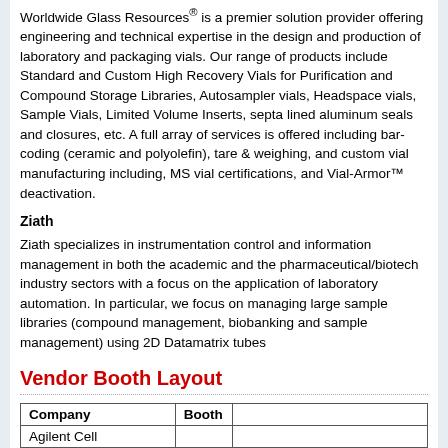Worldwide Glass Resources® is a premier solution provider offering engineering and technical expertise in the design and production of laboratory and packaging vials. Our range of products include Standard and Custom High Recovery Vials for Purification and Compound Storage Libraries, Autosampler vials, Headspace vials, Sample Vials, Limited Volume Inserts, septa lined aluminum seals and closures, etc. A full array of services is offered including bar-coding (ceramic and polyolefin), tare & weighing, and custom vial manufacturing including, MS vial certifications, and Vial-Armor™ deactivation.
Ziath
Ziath specializes in instrumentation control and information management in both the academic and the pharmaceutical/biotech industry sectors with a focus on the application of laboratory automation. In particular, we focus on managing large sample libraries (compound management, biobanking and sample management) using 2D Datamatrix tubes
Vendor Booth Layout
| Company | Booth |  |
| --- | --- | --- |
| Agilent Cell |  |  |